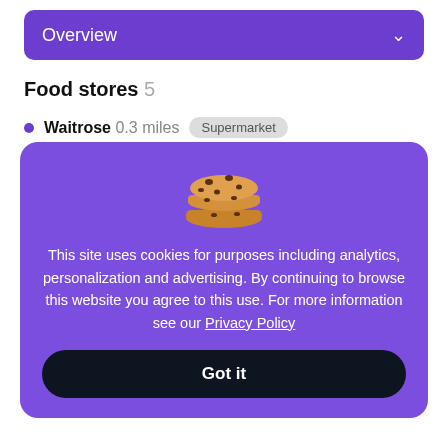Overview
Food stores 5
Waitrose 0.3 miles Supermarket
Cook 0.2 miles Grocery store
VRM News Agent 0.2 miles Grocery store
This site uses cookies for purposes including analytics, personalization and advertising. By continuing to browse this website you agree to this use. For more information see our Privacy Policy
Got it